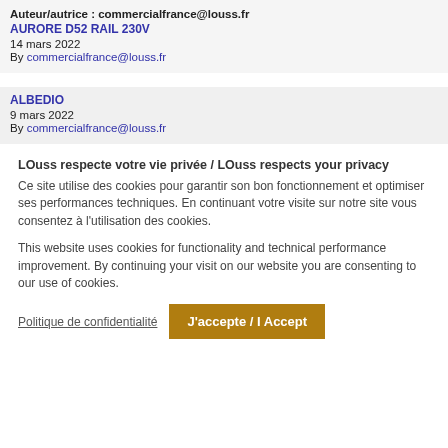Auteur/autrice : commercialfrance@louss.fr
AURORE D52 RAIL 230V
14 mars 2022
By commercialfrance@louss.fr
ALBEDIO
9 mars 2022
By commercialfrance@louss.fr
LOuss respecte votre vie privée / LOuss respects your privacy
Ce site utilise des cookies pour garantir son bon fonctionnement et optimiser ses performances techniques. En continuant votre visite sur notre site vous consentez à l'utilisation des cookies.

This website uses cookies for functionality and technical performance improvement. By continuing your visit on our website you are consenting to our use of cookies.
Politique de confidentialité
J'accepte / I Accept